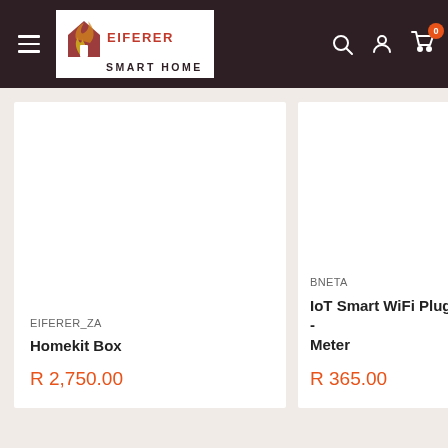[Figure (logo): Eiferer Smart Home logo with flame/house icon on dark header bar with hamburger menu, search, account, and cart icons]
EIFERER_ZA
Homekit Box
R 2,750.00
BNETA
IoT Smart WiFi Plug - Meter
R 365.00